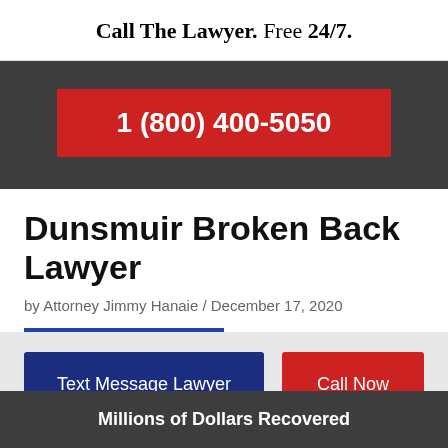Call The Lawyer. Free 24/7.
1 (800) 400-5050
Dunsmuir Broken Back Lawyer
by Attorney Jimmy Hanaie / December 17, 2020
Text Message Lawyer
Call Now
Millions of Dollars Recovered